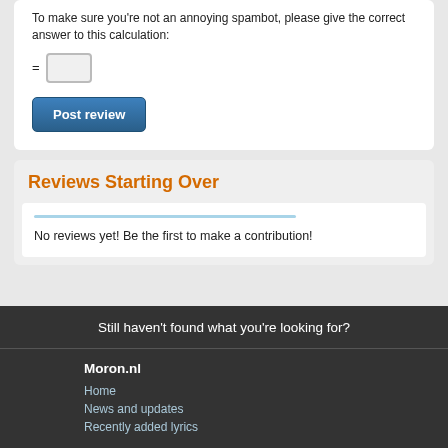To make sure you're not an annoying spambot, please give the correct answer to this calculation:
Post review
Reviews Starting Over
No reviews yet! Be the first to make a contribution!
Still haven't found what you're looking for?
Moron.nl
Home
News and updates
Recently added lyrics